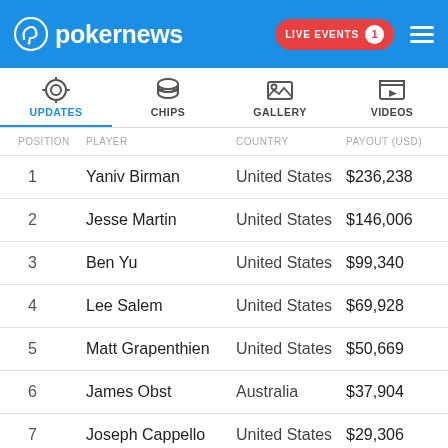pokernews LIVE EVENTS 1
[Figure (screenshot): PokerNews navigation tabs: UPDATES (active, blue), CHIPS, GALLERY, VIDEOS with icons]
| POSITION | PLAYER | COUNTRY | PAYOUT (USD) |
| --- | --- | --- | --- |
| 1 | Yaniv Birman | United States | $236,238 |
| 2 | Jesse Martin | United States | $146,006 |
| 3 | Ben Yu | United States | $99,340 |
| 4 | Lee Salem | United States | $69,928 |
| 5 | Matt Grapenthien | United States | $50,669 |
| 6 | James Obst | Australia | $37,904 |
| 7 | Joseph Cappello | United States | $29,306 |